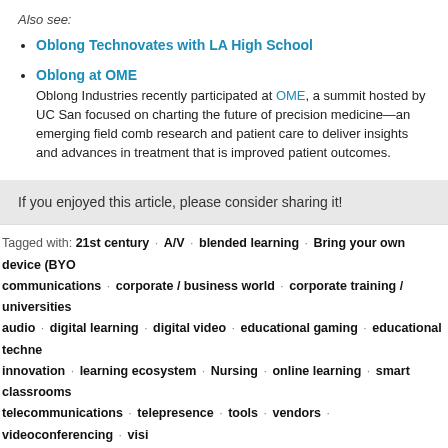Also see:
Oblong Technovates with LA High School
Oblong at OME
Oblong Industries recently participated at OME, a summit hosted by UC San focused on charting the future of precision medicine—an emerging field combining research and patient care to deliver insights and advances in treatment that is improved patient outcomes.
If you enjoyed this article, please consider sharing it!
Tagged with: 21st century · A/V · blended learning · Bring your own device (BYO · communications · corporate / business world · corporate training / universities · audio · digital learning · digital video · educational gaming · educational techne · innovation · learning ecosystem · Nursing · online learning · smart classrooms · telecommunications · telepresence · tools · vendors · videoconferencing · visi
Transmedia is a mindset, not a scien